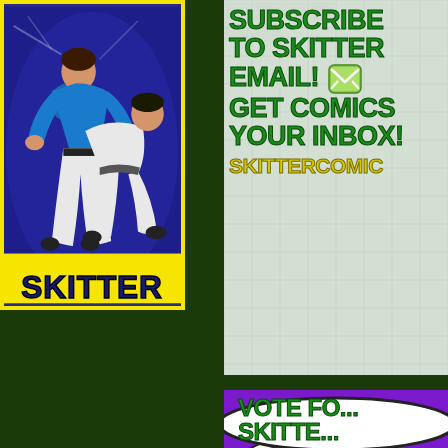[Figure (illustration): Comic book style illustration of martial arts fighters (judo/wrestling) in blue and white uniforms on a dark blue/purple background with 'SKITTER' label at bottom in yellow on black]
[Figure (infographic): Subscribe to Skitter Email advertisement panel with green bold text on light grey/white background with comic strip thumbnail grid pattern. Text reads: SUBSCRIBE TO SKITTER EMAIL! GET COMICS YOUR INBOX! SKITTERCOMIC...]
[Figure (infographic): Purple background banner with white speech bubble containing green bold text: VOTE FO... SKITTE...]